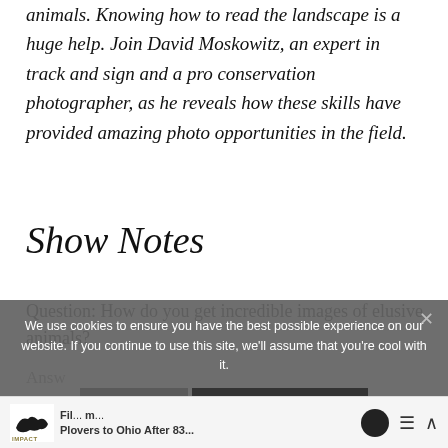animals. Knowing how to read the landscape is a huge help. Join David Moskowitz, an expert in track and sign and a pro conservation photographer, as he reveals how these skills have provided amazing photo opportunities in the field.
Show Notes
Question: How do you get incredible images of elusive animals?
Answ...
[Figure (screenshot): Cookie consent overlay with message: 'We use cookies to ensure you have the best possible experience on our website. If you continue to use this site, we’ll assume that you’re cool with it.' Two buttons: YEP! and PRIVACY POLICY]
Fil... Plovers to Ohio After 83...